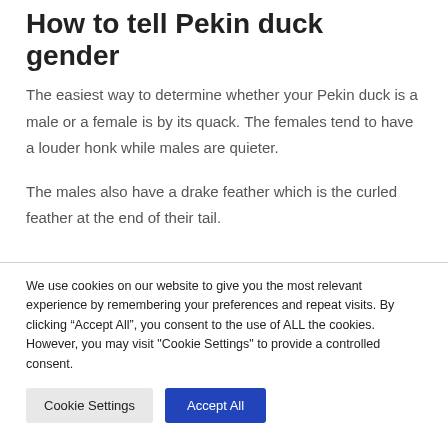How to tell Pekin duck gender
The easiest way to determine whether your Pekin duck is a male or a female is by its quack. The females tend to have a louder honk while males are quieter.
The males also have a drake feather which is the curled feather at the end of their tail.
We use cookies on our website to give you the most relevant experience by remembering your preferences and repeat visits. By clicking “Accept All”, you consent to the use of ALL the cookies. However, you may visit "Cookie Settings" to provide a controlled consent.